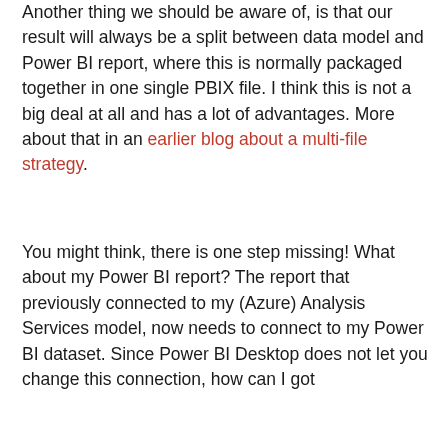Another thing we should be aware of, is that our result will always be a split between data model and Power BI report, where this is normally packaged together in one single PBIX file. I think this is not a big deal at all and has a lot of advantages. More about that in an earlier blog about a multi-file strategy.
You might think, there is one step missing! What about my Power BI report? The report that previously connected to my (Azure) Analysis Services model, now needs to connect to my Power BI dataset. Since Power BI Desktop does not let you change this connection, how can I got